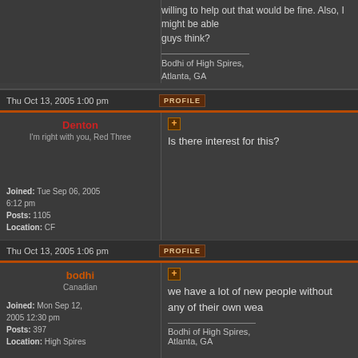willing to help out that would be fine. Also, I might be able guys think?

Bodhi of High Spires, Atlanta, GA
Thu Oct 13, 2005 1:00 pm
PROFILE
Denton
I'm right with you, Red Three
Joined: Tue Sep 06, 2005 6:12 pm
Posts: 1105
Location: CF
Is there interest for this?
Thu Oct 13, 2005 1:06 pm
PROFILE
bodhi
Canadian
Joined: Mon Sep 12, 2005 12:30 pm
Posts: 397
Location: High Spires
we have a lot of new people without any of their own wea

Bodhi of High Spires, Atlanta, GA
Thu Oct 13, 2005 1:48 pm
PROFILE